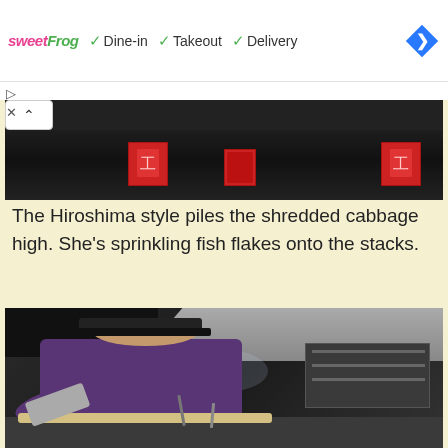[Figure (screenshot): Advertisement banner showing sweetFrog logo with checkmarks for Dine-in, Takeout, and Delivery services, and a blue navigation diamond icon]
[Figure (photo): Partial view of a dark restaurant interior showing a shelf with red menu holders/dispensers against a dark background]
The Hiroshima style piles the shredded cabbage high. She's sprinkling fish flakes onto the stacks.
[Figure (photo): Woman in dark cap and purple t-shirt cooking in a Japanese restaurant kitchen, sprinkling fish flakes onto stacks of shredded cabbage on a flat grill. Restaurant kitchen with stainless steel hood visible in background.]